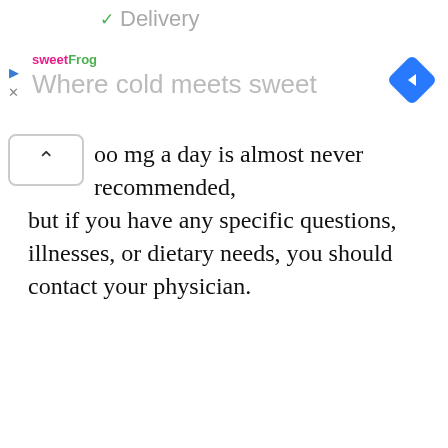Delivery
[Figure (screenshot): SweetFrog advertisement banner with logo and tagline 'Where cold meets sweet', navigation arrow icon on right]
oo mg a day is almost never recommended, but if you have any specific questions, illnesses, or dietary needs, you should contact your physician.